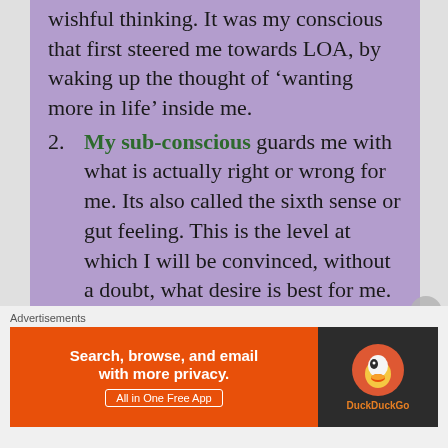wishful thinking. It was my conscious that first steered me towards LOA, by waking up the thought of ‘wanting more in life’ inside me.
2. My sub-conscious guards me with what is actually right or wrong for me. Its also called the sixth sense or gut feeling. This is the level at which I will be convinced, without a doubt, what desire is best for me. Its frequency is always aligned with the Omnipresent. But if conscious is always conveying
[Figure (other): DuckDuckGo advertisement banner: orange left panel with text 'Search, browse, and email with more privacy. All in One Free App' and dark right panel with DuckDuckGo duck logo]